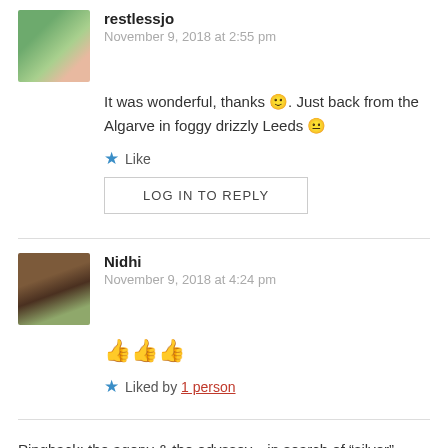restlessjo
November 9, 2018 at 2:55 pm
It was wonderful, thanks 🙂. Just back from the Algarve in foggy drizzly Leeds 😐
★ Like
LOG IN TO REPLY
Nidhi
November 9, 2018 at 4:24 pm
👍👍👍
★ Liked by 1 person
Pingback: the agony & the odyssey…in search of "silver" sand (& ruminations on identity) – ~ wander.essence ~